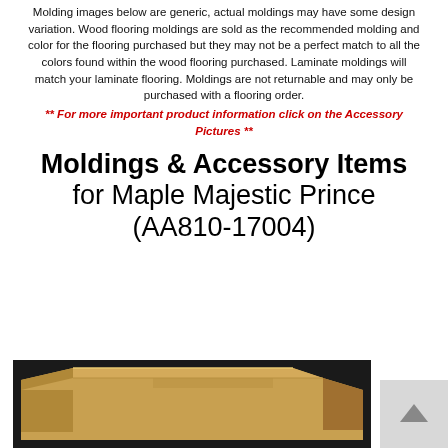Molding images below are generic, actual moldings may have some design variation. Wood flooring moldings are sold as the recommended molding and color for the flooring purchased but they may not be a perfect match to all the colors found within the wood flooring purchased. Laminate moldings will match your laminate flooring. Moldings are not returnable and may only be purchased with a flooring order.
** For more important product information click on the Accessory Pictures **
Moldings & Accessory Items for Maple Majestic Prince (AA810-17004)
[Figure (photo): Photo of a wood flooring molding/trim piece shown against a dark background, warm maple/golden wood color]